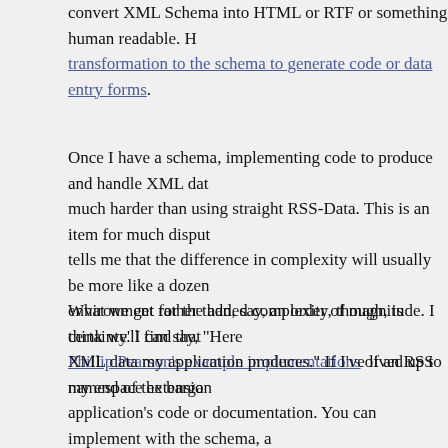convert XML Schema into HTML or RTF or something human readable. H transformation to the schema to generate code or data entry forms.
Once I have a schema, implementing code to produce and handle XML da much harder than using straight RSS-Data. This is an item for much dispu tells me that the difference in complexity will usually be more like a dozen environment rather than, say, an order of magnitude. I think we'll find that Phillip Pearson's example implementations of an RSS namespace extension
What we get for the added complexity, though, is certainty. I can say, "Her XML data my application produces." If I've lived up to my end of the barg application's code or documentation. You can implement with the schema, treat the data formats as separate entities from applications. In other words ground.